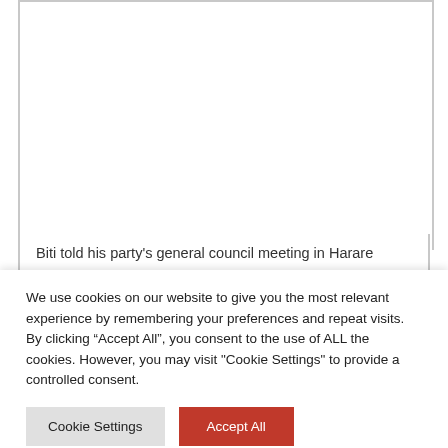[Figure (photo): Photograph area showing an image related to a news article about Biti and a party general council meeting in Harare]
Biti told his party's general council meeting in Harare
We use cookies on our website to give you the most relevant experience by remembering your preferences and repeat visits. By clicking “Accept All”, you consent to the use of ALL the cookies. However, you may visit "Cookie Settings" to provide a controlled consent.
Cookie Settings   Accept All